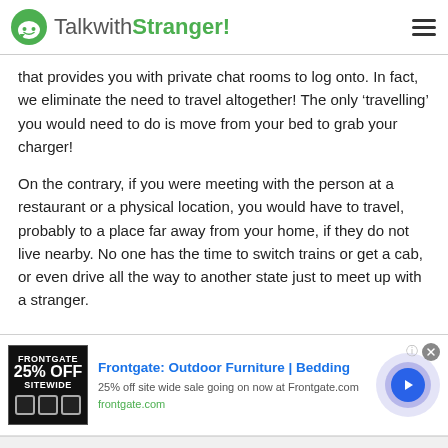TalkwithStranger!
that provides you with private chat rooms to log onto. In fact, we eliminate the need to travel altogether! The only ‘travelling’ you would need to do is move from your bed to grab your charger!
On the contrary, if you were meeting with the person at a restaurant or a physical location, you would have to travel, probably to a place far away from your home, if they do not live nearby. No one has the time to switch trains or get a cab, or even drive all the way to another state just to meet up with a stranger.
[Figure (screenshot): Advertisement banner for Frontgate: Outdoor Furniture | Bedding. Shows 25% off sitewide sale. Includes product image, title, description, URL frontgate.com, and a play button.]